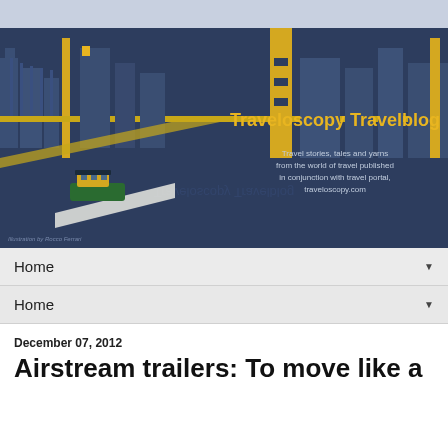[Figure (illustration): Traveloscopy Travelblog banner image. Dark navy blue background with illustrated city skyline showing buildings and a bridge with yellow accents. A small illustrated boat/vehicle on a white surface in the lower left. Text reads 'Traveloscopy Travelblog' in yellow, and below in grey: 'Travel stories, tales and yarns from the world of travel published in conjunction with travel portal, traveloscopy.com'. Small credit text bottom left: 'Illustration by Rocco Ferrari']
Home
Home
December 07, 2012
Airstream trailers: To move like a